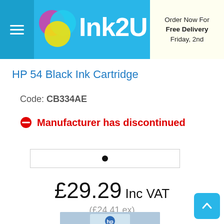Ink2U — Order Now For Free Delivery Friday, 2nd
HP 54 Black Ink Cartridge
Code: CB334AE
Manufacturer has discontinued
£29.29 Inc VAT
(£24.41 ex)
[Figure (photo): HP ink cartridge product packaging photo, partially visible at bottom of page]